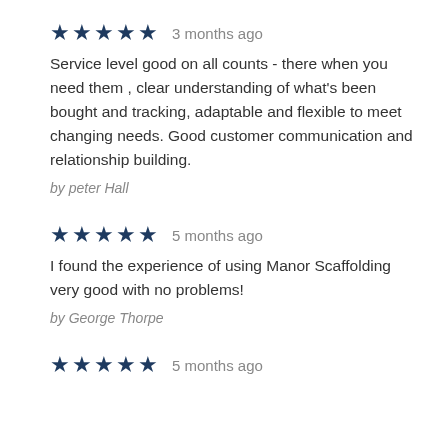[Figure (other): 5 dark blue stars rating with '3 months ago' text]
Service level good on all counts - there when you need them , clear understanding of what's been bought and tracking, adaptable and flexible to meet changing needs. Good customer communication and relationship building.
by peter Hall
[Figure (other): 5 dark blue stars rating with '5 months ago' text]
I found the experience of using Manor Scaffolding very good with no problems!
by George Thorpe
[Figure (other): 5 dark blue stars rating with '5 months ago' text]